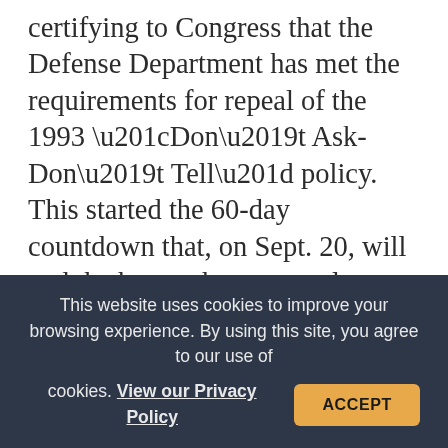certifying to Congress that the Defense Department has met the requirements for repeal of the 1993 “Don’t Ask-Don’t Tell” policy. This started the 60-day countdown that, on Sept. 20, will end the ban on homosexuals openly serving in the US military, per the repeal law that he enacted last December. “I have always been confident that our dedicated men and women in uniform would transition to a new policy in an orderly manner that preserves unit cohesion, recruitment, retention, and military effectiveness” stated
This website uses cookies to improve your browsing experience. By using this site, you agree to our use of cookies. View our Privacy Policy ACCEPT